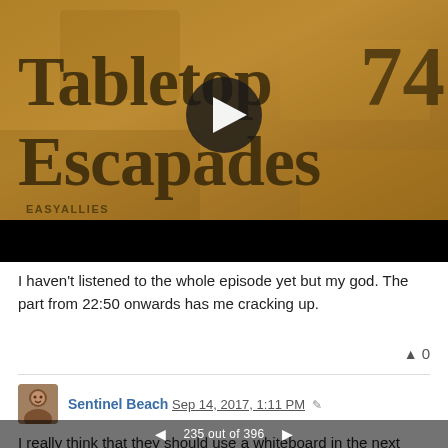[Figure (screenshot): YouTube-style video thumbnail showing 'Tabletop74 Escapades' title text on a worn parchment/brown texture background with a play button in the center and 'EASYALLIES' text in lower left. A black bar appears at the bottom of the video frame.]
I haven't listened to the whole episode yet but my god. The part from 22:50 onwards has me cracking up.
▲ 0
Sentinel Beach Sep 14, 2017, 1:11 PM ✎
I really think that they should use a whiteboard in the next campaign. It would clarify a lot especially in battles. For instance this dynamite